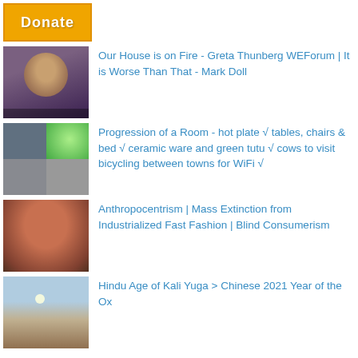[Figure (other): Donate button with orange background]
[Figure (photo): Photo of Greta Thunberg speaking]
Our House is on Fire - Greta Thunberg WEForum | It is Worse Than That - Mark Doll
[Figure (photo): Collage of four photos: people, green balloon, interior scenes]
Progression of a Room - hot plate √ tables, chairs & bed √ ceramic ware and green tutu √ cows to visit bicycling between towns for WiFi √
[Figure (photo): Close-up photo of a person's face]
Anthropocentrism | Mass Extinction from Industrialized Fast Fashion | Blind Consumerism
[Figure (photo): Landscape photo with mountains and moon]
Hindu Age of Kali Yuga > Chinese 2021 Year of the Ox